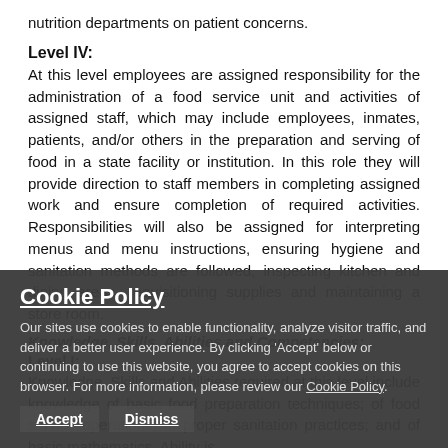nutrition departments on patient concerns.
Level IV:
At this level employees are assigned responsibility for the administration of a food service unit and activities of assigned staff, which may include employees, inmates, patients, and/or others in the preparation and serving of food in a state facility or institution. In this role they will provide direction to staff members in completing assigned work and ensure completion of required activities. Responsibilities will also be assigned for interpreting menus and menu instructions, ensuring hygiene and sanitation methods are followed, inspecting kitchen and dining areas, requisitioning supplies and maintaining a store room.
Knowledge, Skills, Abilities and Competencies:
Level I:
Knowledge, Skills and Abilities required at this level include knowledge of basic food preparation techniques; of food service operations; of proper sanitation practices; and of basic mathematics. Ability is
Cookie Policy
Our sites use cookies to enable functionality, analyze visitor traffic, and deliver a better user experience. By clicking 'Accept' below or continuing to use this website, you agree to accept cookies on this browser. For more information, please review our Cookie Policy.